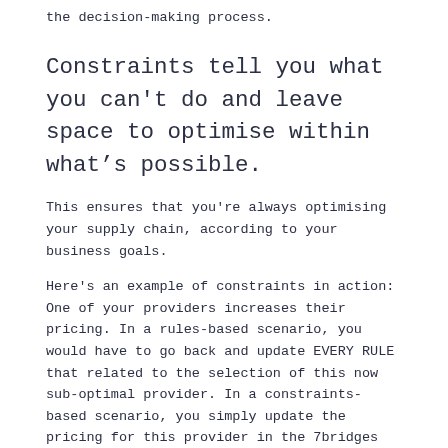the decision-making process.
Constraints tell you what you can't do and leave space to optimise within what's possible.
This ensures that you're always optimising your supply chain, according to your business goals.
Here's an example of constraints in action: One of your providers increases their pricing. In a rules-based scenario, you would have to go back and update EVERY RULE that related to the selection of this now sub-optimal provider. In a constraints-based scenario, you simply update the pricing for this provider in the 7bridges platform, and the